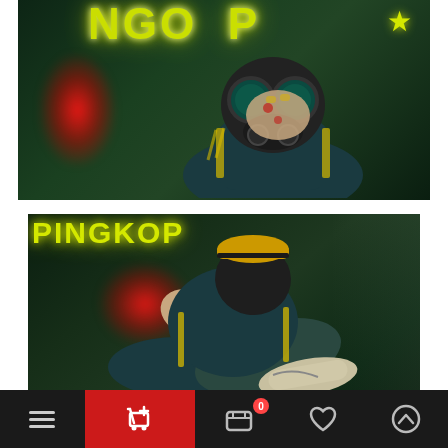[Figure (photo): Top photo: person wearing black gas mask goggles holding face with ringed hand, teal/dark jacket with yellow stripe details, in front of neon yellow 'PINGKOP' signage and red neon glow, dark green moody background with grid texture]
[Figure (photo): Bottom photo: same person sitting/crouching low angle shot, wearing gas mask, teal jacket, beige/olive sneakers, neon yellow 'PINGKOP' sign visible top left, red neon glow in background, dark green moody atmosphere]
Navigation bar with hamburger menu, shopping cart (active/red), bag with badge 0, heart, and up-arrow icons